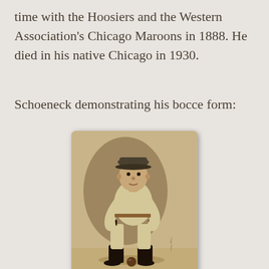time with the Hoosiers and the Western Association's Chicago Maroons in 1888. He died in his native Chicago in 1930.
Schoeneck demonstrating his bocce form:
[Figure (photo): Vintage Old Judge cigarette card showing Schoeneck, 1st Base player for Indianapolis, in a fielding crouch pose with a ball on the ground. Card reads: SCHOENECK, 1st B., Indianapoli / OLD JUDGE / CIGARETTE FACTORY, / GOODWIN & CO., New York.]